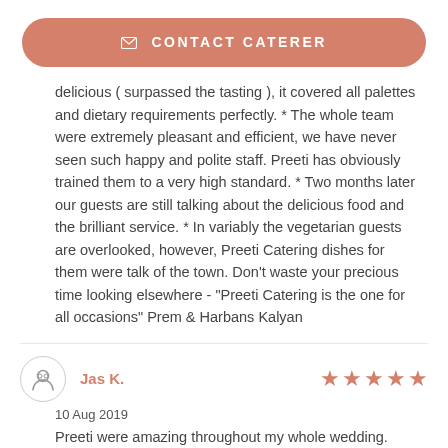CONTACT CATERER
delicious ( surpassed the tasting ), it covered all palettes and dietary requirements perfectly. * The whole team were extremely pleasant and efficient, we have never seen such happy and polite staff. Preeti has obviously trained them to a very high standard. * Two months later our guests are still talking about the delicious food and the brilliant service. * In variably the vegetarian guests are overlooked, however, Preeti Catering dishes for them were talk of the town. Don't waste your precious time looking elsewhere - "Preeti Catering is the one for all occasions" Prem & Harbans Kalyan
Jas K.
10 Aug 2019
Preeti were amazing throughout my whole wedding. From the piping hot food at the gurudawara to the service and food offered at the reception. Every run efficiently and on time. Big thank you to Navin and